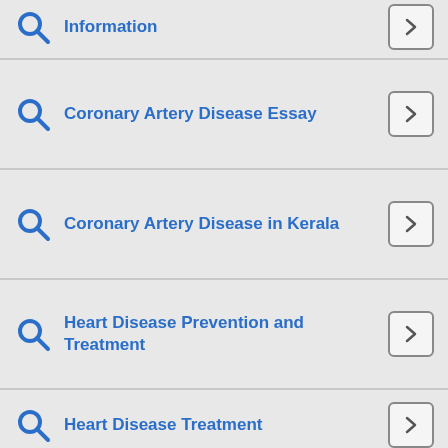Information
Coronary Artery Disease Essay
Coronary Artery Disease in Kerala
Heart Disease Prevention and Treatment
Heart Disease Treatment